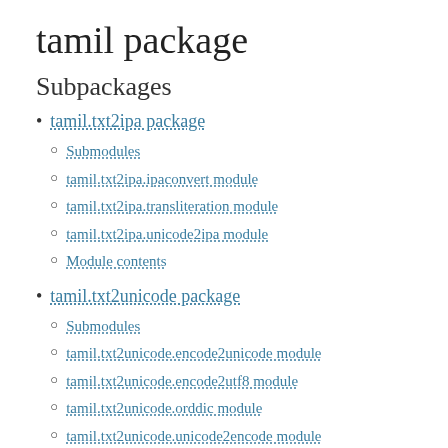tamil package
Subpackages
tamil.txt2ipa package
Submodules
tamil.txt2ipa.ipaconvert module
tamil.txt2ipa.transliteration module
tamil.txt2ipa.unicode2ipa module
Module contents
tamil.txt2unicode package
Submodules
tamil.txt2unicode.encode2unicode module
tamil.txt2unicode.encode2utf8 module
tamil.txt2unicode.orddic module
tamil.txt2unicode.unicode2encode module